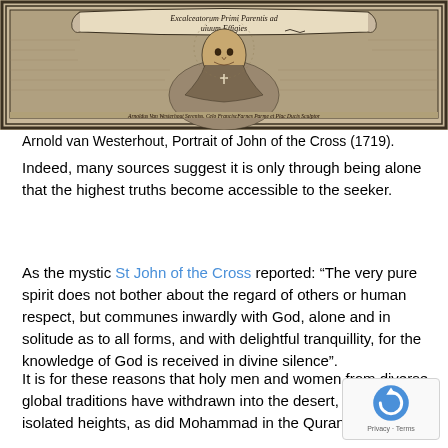[Figure (illustration): Engraving portrait of John of the Cross (1719) by Arnold van Westerhout, with Latin inscription on a scroll banner at top reading 'Excalceatorum Primi Parentis ad uiuum Effigies', with a caption line at the bottom in cursive script attributing to 'Arnoldus Van Westerhout Sereniss. Celo Francisc Farnes Parme et Plac Ducis Sculptor'.]
Arnold van Westerhout, Portrait of John of the Cross (1719).
Indeed, many sources suggest it is only through being alone that the highest truths become accessible to the seeker.
As the mystic St John of the Cross reported: “The very pure spirit does not bother about the regard of others or human respect, but communes inwardly with God, alone and in solitude as to all forms, and with delightful tranquillity, for the knowledge of God is received in divine silence”.
It is for these reasons that holy men and women from diverse global traditions have withdrawn into the desert, as Chr— onto isolated heights, as did Mohammad in the Quran o— in Exodus.